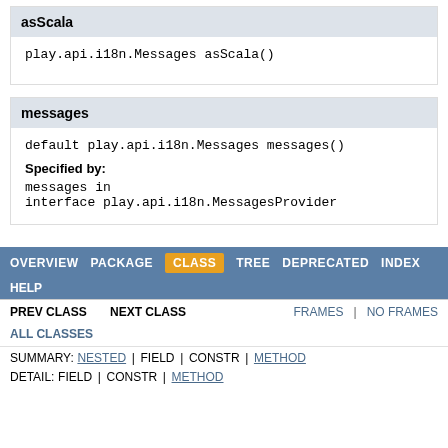asScala
play.api.i18n.Messages asScala()
messages
default play.api.i18n.Messages messages()
Specified by:
messages in interface play.api.i18n.MessagesProvider
OVERVIEW  PACKAGE  CLASS  TREE  DEPRECATED  INDEX  HELP  PREV CLASS  NEXT CLASS  FRAMES  NO FRAMES  ALL CLASSES  SUMMARY: NESTED | FIELD | CONSTR | METHOD  DETAIL: FIELD | CONSTR | METHOD